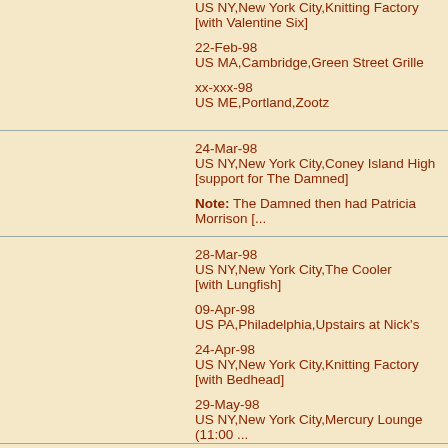US NY,New York City,Knitting Factory [with Valentine Six]
22-Feb-98
US MA,Cambridge,Green Street Grille
xx-xxx-98
US ME,Portland,Zootz
24-Mar-98
US NY,New York City,Coney Island High [support for The Damned]
Note: The Damned then had Patricia Morrison [...]
28-Mar-98
US NY,New York City,The Cooler [with Lungfish]
09-Apr-98
US PA,Philadelphia,Upstairs at Nick's
24-Apr-98
US NY,New York City,Knitting Factory [with Bedhead]
29-May-98
US NY,New York City,Mercury Lounge (11:00 ...)